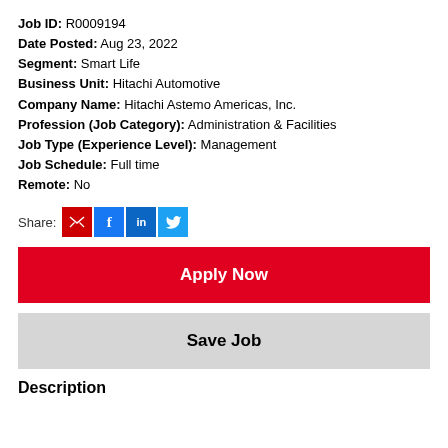Job ID: R0009194
Date Posted: Aug 23, 2022
Segment: Smart Life
Business Unit: Hitachi Automotive
Company Name: Hitachi Astemo Americas, Inc.
Profession (Job Category): Administration & Facilities
Job Type (Experience Level): Management
Job Schedule: Full time
Remote: No
Share:
Apply Now
Save Job
Description